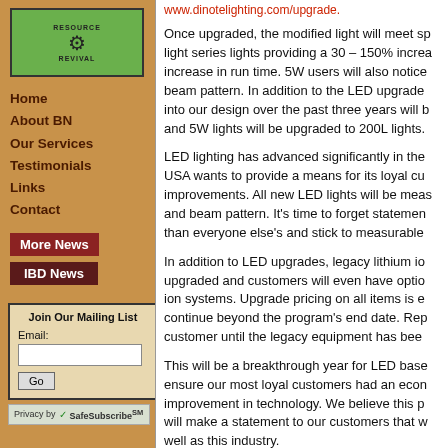[Figure (logo): Resource Revival logo with gear icon on green background]
Home
About BN
Our Services
Testimonials
Links
Contact
More News
IBD News
Join Our Mailing List
Email:
Privacy by SafeSubscribeSM
www.dinotelighting.com/upgrade.
Once upgraded, the modified light will meet sp light series lights providing a 30 – 150% increa increase in run time. 5W users will also notice beam pattern. In addition to the LED upgrade into our design over the past three years will b and 5W lights will be upgraded to 200L lights.
LED lighting has advanced significantly in the USA wants to provide a means for its loyal cu improvements. All new LED lights will be meas and beam pattern. It's time to forget statemen than everyone else's and stick to measurable
In addition to LED upgrades, legacy lithium io upgraded and customers will even have optio ion systems. Upgrade pricing on all items is e continue beyond the program's end date. Rep customer until the legacy equipment has bee
This will be a breakthrough year for LED base ensure our most loyal customers had an econ improvement in technology. We believe this p will make a statement to our customers that w well as this industry.